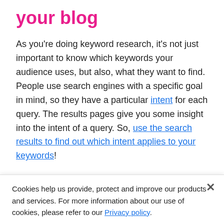your blog
As you're doing keyword research, it's not just important to know which keywords your audience uses, but also, what they want to find. People use search engines with a specific goal in mind, so they have a particular intent for each query. The results pages give you some insight into the intent of a query. So, use the search results to find out which intent applies to your keywords!
In many cases, people are purely looking for information, so the search engines will want to show them informational pages. That's where your blog could come in
Cookies help us provide, protect and improve our products and services. For more information about our use of cookies, please refer to our Privacy policy.